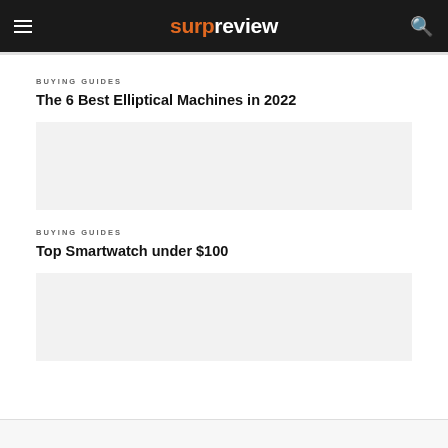surpreview
BUYING GUIDES
The 6 Best Elliptical Machines in 2022
BUYING GUIDES
Top Smartwatch under $100